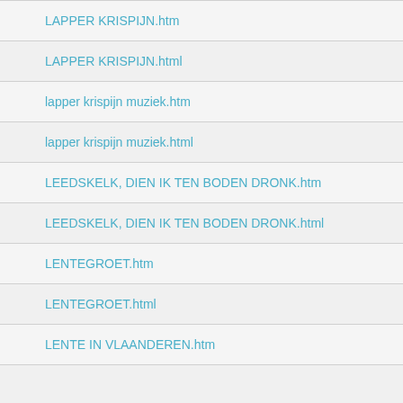LAPPER KRISPIJN.htm
LAPPER KRISPIJN.html
lapper krispijn muziek.htm
lapper krispijn muziek.html
LEEDSKELK, DIEN IK TEN BODEN DRONK.htm
LEEDSKELK, DIEN IK TEN BODEN DRONK.html
LENTEGROET.htm
LENTEGROET.html
LENTE IN VLAANDEREN.htm